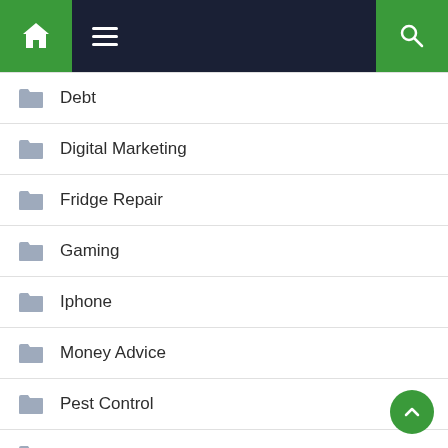[Figure (screenshot): Navigation bar with green home button, dark background with hamburger menu, and green search button]
Debt
Digital Marketing
Fridge Repair
Gaming
Iphone
Money Advice
Pest Control
Printer
Productivity